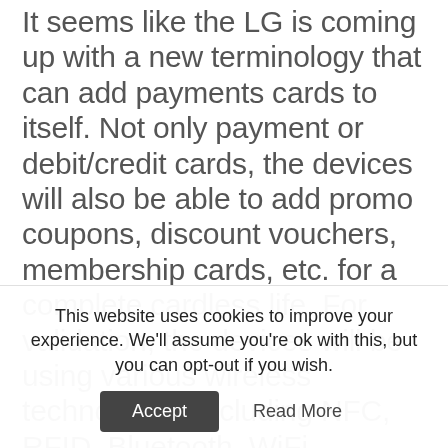It seems like the LG is coming up with a new terminology that can add payments cards to itself. Not only payment or debit/credit cards, the devices will also be able to add promo coupons, discount vouchers, membership cards, etc. for a complete cardless life. For validation, the devices will be using various wireless technologies including NFC, RFID, Bluetooth, WiFi, Wireless-USB, UWB (Ultra-Wideband), IrDA, Zigbee, etc. When the device is paired with a smartphone, it also allows users to pay via barcode scanning using the phone.
This website uses cookies to improve your experience. We'll assume you're ok with this, but you can opt-out if you wish.
Accept   Read More